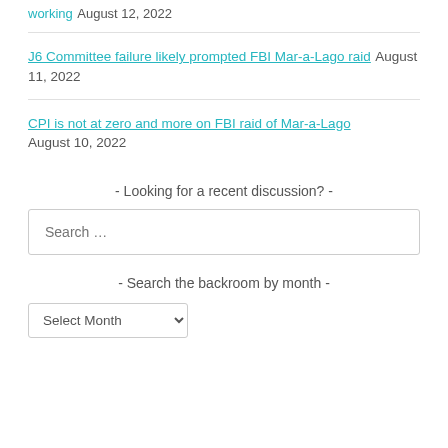working August 12, 2022
J6 Committee failure likely prompted FBI Mar-a-Lago raid August 11, 2022
CPI is not at zero and more on FBI raid of Mar-a-Lago August 10, 2022
- Looking for a recent discussion? -
Search …
- Search the backroom by month -
Select Month